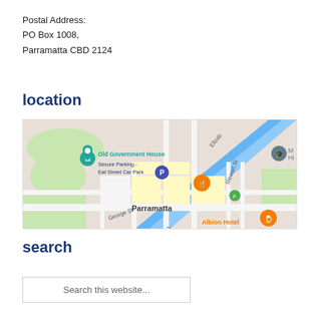Postal Address:
PO Box 1008,
Parramatta CBD 2124
location
[Figure (map): Google Maps view of Parramatta CBD showing Old Government House, Secure Parking - Eat Street Car Park, George St, Smith St, Albion Hotel, and surrounding streets and landmarks.]
search
Search this website...